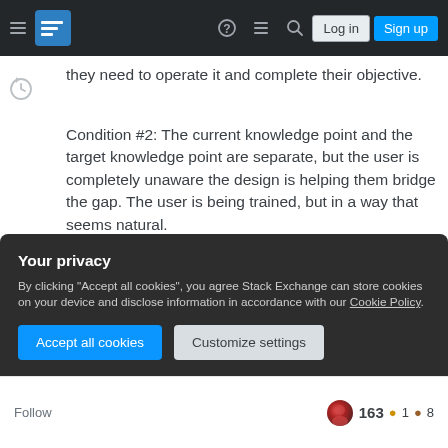Stack Exchange navigation bar with Log in and Sign up buttons
they need to operate it and complete their objective.
Condition #2: The current knowledge point and the target knowledge point are separate, but the user is completely unaware the design is helping them bridge the gap. The user is being trained, but in a way that seems natural.
So, my question is about the second condition, what are the techniques that allow design to teach user to use an interface in a way that seems natural?
Your privacy
By clicking "Accept all cookies", you agree Stack Exchange can store cookies on your device and disclose information in accordance with our Cookie Policy.
Accept all cookies
Customize settings
Follow    163 ● 1 ● 8